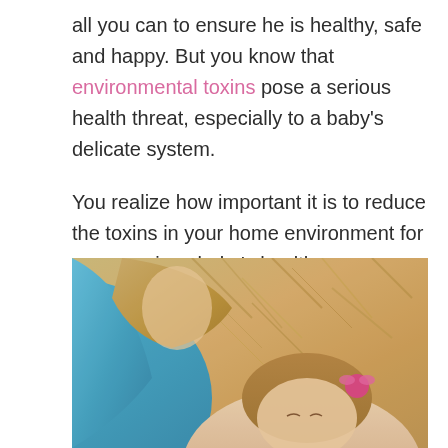all you can to ensure he is healthy, safe and happy. But you know that environmental toxins pose a serious health threat, especially to a baby's delicate system.

You realize how important it is to reduce the toxins in your home environment for your precious baby's health.
[Figure (photo): A mother and young child outdoors, with the mother wearing a blue shirt. A young girl with brown hair tied with a pink ribbon/bow is visible in the foreground. The background shows blurred golden/wheat-colored foliage.]